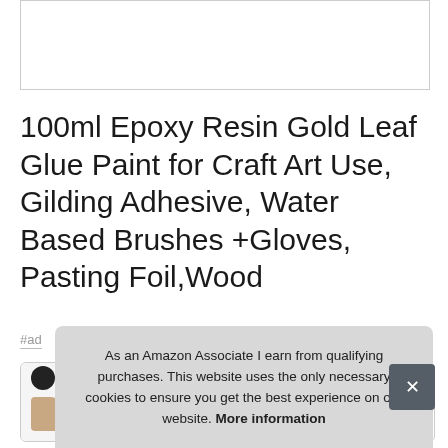[Figure (photo): Product image placeholder - white box with border at top of page]
100ml Epoxy Resin Gold Leaf Glue Paint for Craft Art Use, Gilding Adhesive, Water Based Brushes +Gloves, Pasting Foil,Wood
#ad
[Figure (photo): Row of four thumbnail product images, first showing a dark jar and hand holding brush]
As an Amazon Associate I earn from qualifying purchases. This website uses the only necessary cookies to ensure you get the best experience on our website. More information